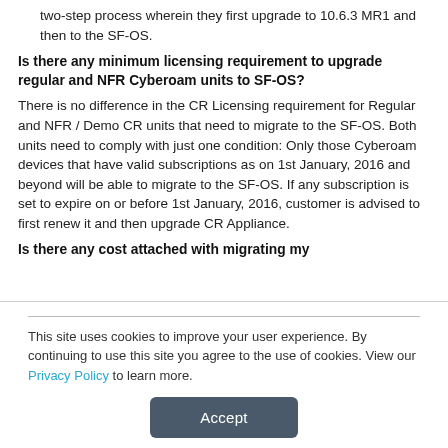For Appliances running 10.6.3, upgrade to SF-OS is a two-step process wherein they first upgrade to 10.6.3 MR1 and then to the SF-OS.
Is there any minimum licensing requirement to upgrade regular and NFR Cyberoam units to SF-OS?
There is no difference in the CR Licensing requirement for Regular and NFR / Demo CR units that need to migrate to the SF-OS. Both units need to comply with just one condition: Only those Cyberoam devices that have valid subscriptions as on 1st January, 2016 and beyond will be able to migrate to the SF-OS. If any subscription is set to expire on or before 1st January, 2016, customer is advised to first renew it and then upgrade CR Appliance.
Is there any cost attached with migrating my
This site uses cookies to improve your user experience. By continuing to use this site you agree to the use of cookies. View our Privacy Policy to learn more.